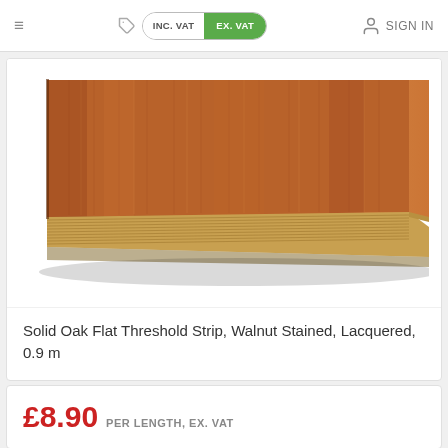≡  INC. VAT  EX. VAT  SIGN IN
[Figure (photo): A solid oak flat threshold strip with walnut stain and lacquer finish, shown at an angle revealing the wood grain on top and the layered bamboo-style edge on the side, against a white background.]
Solid Oak Flat Threshold Strip, Walnut Stained, Lacquered, 0.9 m
£8.90 PER LENGTH, EX. VAT